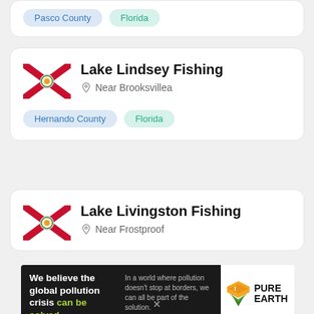Pasco County | Florida
Lake Lindsey Fishing
Near Brooksvillea
Hernando County | Florida
Lake Livingston Fishing
Near Frostproof
[Figure (other): Pure Earth advertisement banner: 'We believe the global pollution crisis can be solved. In a world where pollution doesn't stop at borders, we can all be part of the solution. JOIN US.' with Pure Earth logo.]